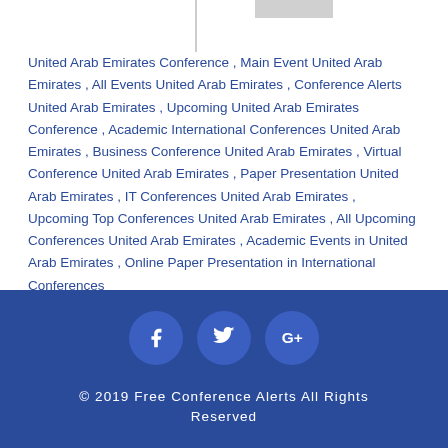United Arab Emirates Conference , Main Event United Arab Emirates , All Events United Arab Emirates , Conference Alerts United Arab Emirates , Upcoming United Arab Emirates Conference , Academic International Conferences United Arab Emirates , Business Conference United Arab Emirates , Virtual Conference United Arab Emirates , Paper Presentation United Arab Emirates , IT Conferences United Arab Emirates , Upcoming Top Conferences United Arab Emirates , All Upcoming Conferences United Arab Emirates , Academic Events in United Arab Emirates , Online Paper Presentation in International Conferences
[Figure (other): Three social media icon circles (Facebook, Twitter, Google+) on dark blue background]
© 2019 Free Conference Alerts All Rights Reserved